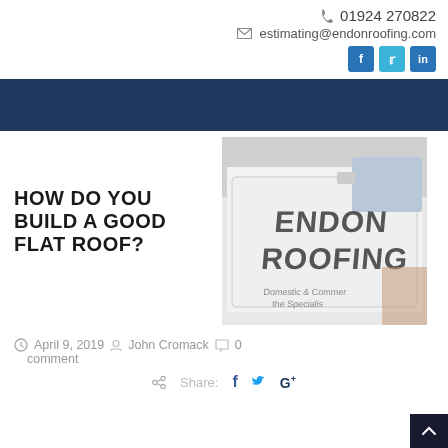📞 01924 270822
✉ estimating@endonroofing.com
[Figure (logo): Endon Roofing van photo with text 'HOW DO YOU BUILD A GOOD FLAT ROOF?' overlaid on the left]
April 9, 2019   John Cromack   0 comment
Share: f  t  G+